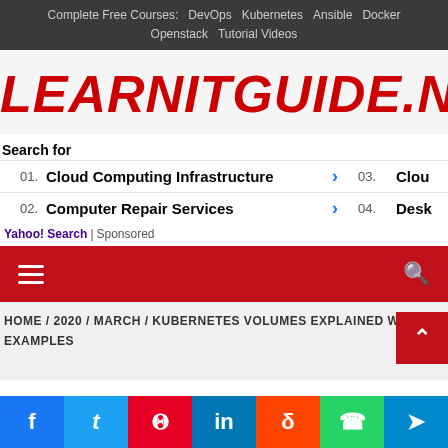Complete Free Courses: DevOps Kubernetes Ansible Docker Openstack Tutorial Videos
LEARNITGUIDE.NET
Search for
01. Cloud Computing Infrastructure
02. Computer Repair Services
03. Clou...
04. Desk...
Yahoo! Search | Sponsored
HOME / 2020 / MARCH / KUBERNETES VOLUMES EXPLAINED WITH EXAMPLES